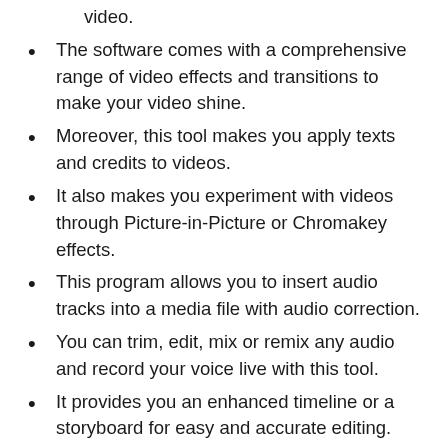video.
The software comes with a comprehensive range of video effects and transitions to make your video shine.
Moreover, this tool makes you apply texts and credits to videos.
It also makes you experiment with videos through Picture-in-Picture or Chromakey effects.
This program allows you to insert audio tracks into a media file with audio correction.
You can trim, edit, mix or remix any audio and record your voice live with this tool.
It provides you an enhanced timeline or a storyboard for easy and accurate editing.
Above all, it allows you can split a video into